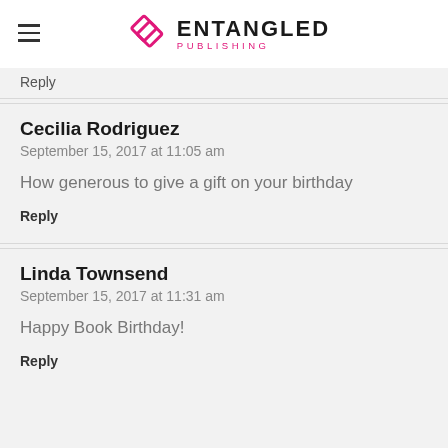ENTANGLED PUBLISHING
Reply
Cecilia Rodriguez
September 15, 2017 at 11:05 am

How generous to give a gift on your birthday

Reply
Linda Townsend
September 15, 2017 at 11:31 am

Happy Book Birthday!

Reply